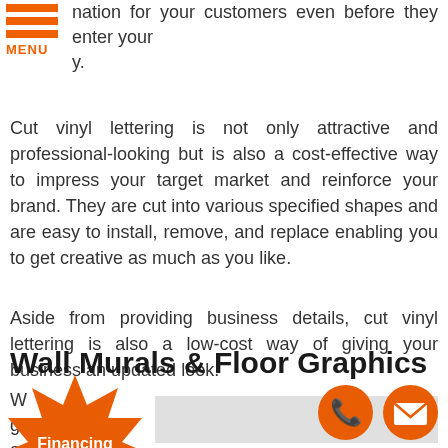nation for your customers even before they enter your y.
Cut vinyl lettering is not only attractive and professional-looking but is also a cost-effective way to impress your target market and reinforce your brand. They are cut into various specified shapes and are easy to install, remove, and replace enabling you to get creative as much as you like.
Aside from providing business details, cut vinyl lettering is also a low-cost way of giving your business an updated look.
Wall Murals & Floor Graphics
W... g... are flexible
[Figure (infographic): Orange starburst badge with text 'Financing Available']
[Figure (photo): Gray image box placeholder]
[Figure (infographic): Two orange circle icons: phone and envelope/mail]